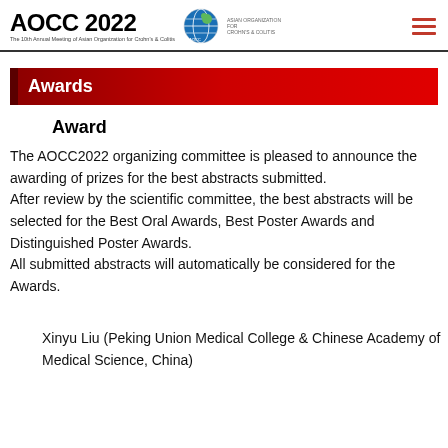AOCC 2022 — The 10th Annual Meeting of Asian Organization for Crohn's & Colitis
Awards
Award
The AOCC2022 organizing committee is pleased to announce the awarding of prizes for the best abstracts submitted.
After review by the scientific committee, the best abstracts will be selected for the Best Oral Awards, Best Poster Awards and Distinguished Poster Awards.
All submitted abstracts will automatically be considered for the Awards.
Xinyu Liu (Peking Union Medical College & Chinese Academy of Medical Science, China)